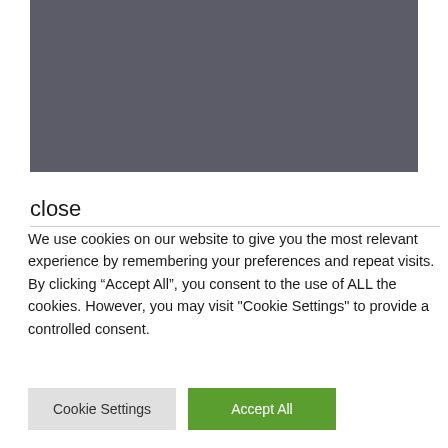[Figure (other): Gray rectangle placeholder image area]
close
We use cookies on our website to give you the most relevant experience by remembering your preferences and repeat visits. By clicking “Accept All”, you consent to the use of ALL the cookies. However, you may visit "Cookie Settings" to provide a controlled consent.
Cookie Settings
Accept All